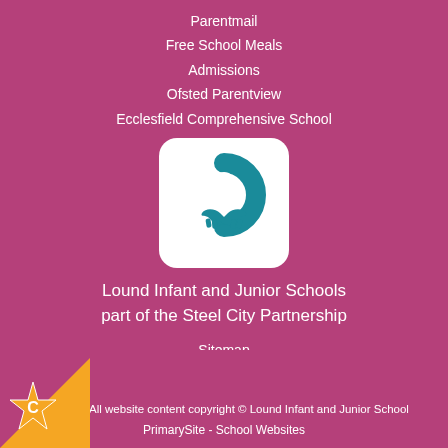Parentmail
Free School Meals
Admissions
Ofsted Parentview
Ecclesfield Comprehensive School
[Figure (logo): Steel City Partnership logo: white rounded square containing a teal circular arc (horseshoe/ring shape) with two hands shaking below, forming a location pin shape]
Lound Infant and Junior Schools part of the Steel City Partnership
Sitemap
Cookie Information
Website Policy
All website content copyright © Lound Infant and Junior School
PrimarySite - School Websites